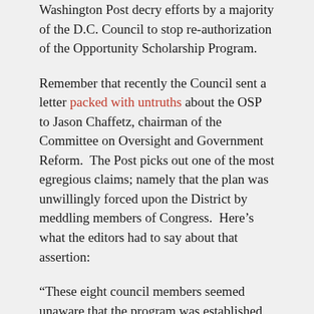Washington Post decry efforts by a majority of the D.C. Council to stop re-authorization of the Opportunity Scholarship Program.
Remember that recently the Council sent a letter packed with untruths about the OSP to Jason Chaffetz, chairman of the Committee on Oversight and Government Reform.  The Post picks out one of the most egregious claims; namely that the plan was unwillingly forced upon the District by meddling members of Congress.  Here's what the editors had to say about that assertion:
“These eight council members seemed unaware that the program was established in 2004 at the initiation of Anthony Williams (D), then D.C.’s mayor, and with the strong support of Kevin Chavous (D), then chair of the council’s Education Committee. Likewise, they were unmoved by polling that has shown 74 percent of D.C.